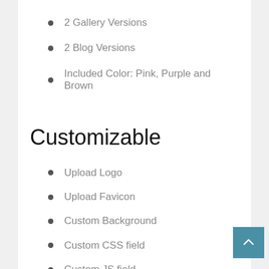2 Gallery Versions
2 Blog Versions
Included Color: Pink, Purple and Brown
Customizable
Upload Logo
Upload Favicon
Custom Background
Custom CSS field
Custom JS field
Select Theme View Layout
Custom Blog Layout